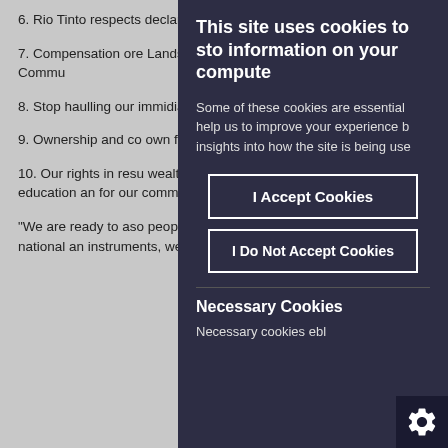6. Rio Tinto respects declared by the unit
7. Compensation ore Lands by the their o indigenous Commu
8. Stop haulling our immidiate effect.
9. Ownership and co own free chosen pat
10. Our rights in res wealth which will be and in education an for our community.
“We are ready to aso peoples are going to through national an instruments, we will
This site uses cookies to sto information on your compute
Some of these cookies are essential help us to improve your experience b insights into how the site is being use
I Accept Cookies
I Do Not Accept Cookies
Necessary Cookies
Necessary cookies ebl